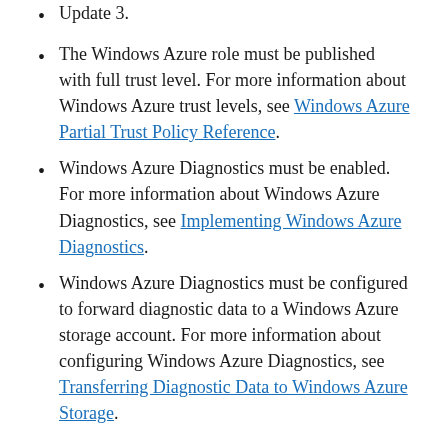Update 3.
The Windows Azure role must be published with full trust level. For more information about Windows Azure trust levels, see Windows Azure Partial Trust Policy Reference.
Windows Azure Diagnostics must be enabled. For more information about Windows Azure Diagnostics, see Implementing Windows Azure Diagnostics.
Windows Azure Diagnostics must be configured to forward diagnostic data to a Windows Azure storage account. For more information about configuring Windows Azure Diagnostics, see Transferring Diagnostic Data to Windows Azure Storage.